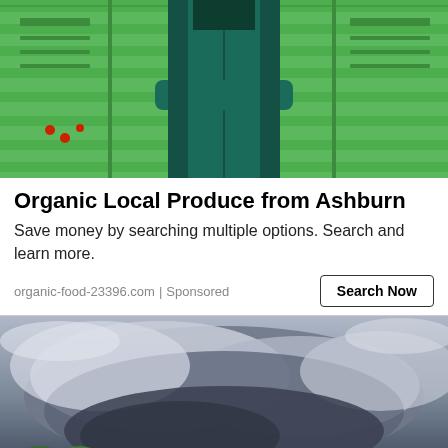[Figure (photo): Person in dark green coat standing in front of stacked bright green plastic produce crates]
Organic Local Produce from Ashburn
Save money by searching multiple options. Search and learn more.
organic-food-23396.com | Sponsored
[Figure (photo): Dramatic stormy sky with dark clouds and green trees in lower left corner, with a back-to-top arrow button overlay]